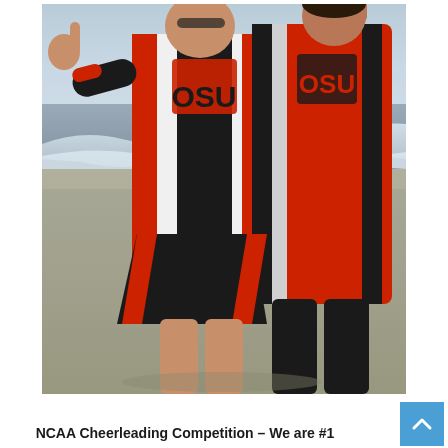[Figure (photo): Two cheerleaders in OSU (Oklahoma State University) black, red, and white uniforms standing on a beach near the ocean shoreline, both making hand gestures pointing upward, indicating number one.]
NCAA Cheerleading Competition – We are #1